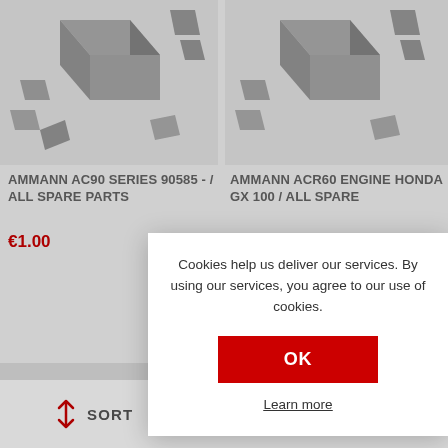[Figure (photo): Top-left product image: abstract 3D exploding cube shapes in black/grey on white background]
[Figure (photo): Top-right product image: abstract 3D exploding cube shapes in black/grey on white background]
AMMANN AC90 SERIES 90585 - / ALL SPARE PARTS
AMMANN ACR60 ENGINE HONDA GX 100 / ALL SPARE
€1.00
[Figure (photo): Bottom-left product image: grey 3D cube block structure]
[Figure (photo): Bottom-right product image: grey 3D cube block structure with fragments]
Cookies help us deliver our services. By using our services, you agree to our use of cookies.
OK
Learn more
SORT
DISPLAY